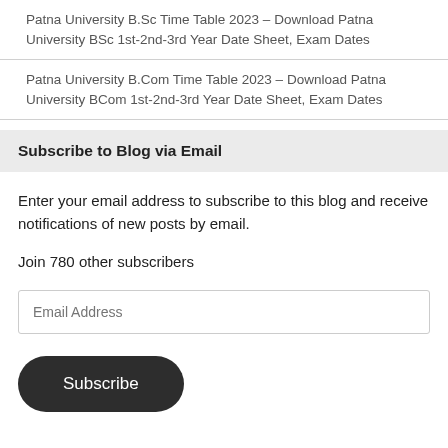Patna University B.Sc Time Table 2023 – Download Patna University BSc 1st-2nd-3rd Year Date Sheet, Exam Dates
Patna University B.Com Time Table 2023 – Download Patna University BCom 1st-2nd-3rd Year Date Sheet, Exam Dates
Subscribe to Blog via Email
Enter your email address to subscribe to this blog and receive notifications of new posts by email.
Join 780 other subscribers
Email Address
Subscribe